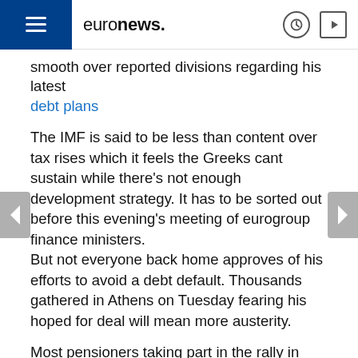euronews.
smooth over reported divisions regarding his latest debt plans
The IMF is said to be less than content over tax rises which it feels the Greeks cant sustain while there's not enough development strategy. It has to be sorted out before this evening's meeting of eurogroup finance ministers.
But not everyone back home approves of his efforts to avoid a debt default. Thousands gathered in Athens on Tuesday fearing his hoped for deal will mean more austerity.
Most pensioners taking part in the rally in Athens were afraid they wouldn't be able to cope with tax rises:
“Even if there are no cuts to pensions but everything gets more expensive, for example the increase in VAT on electricity, what are pensioners supposed to do?